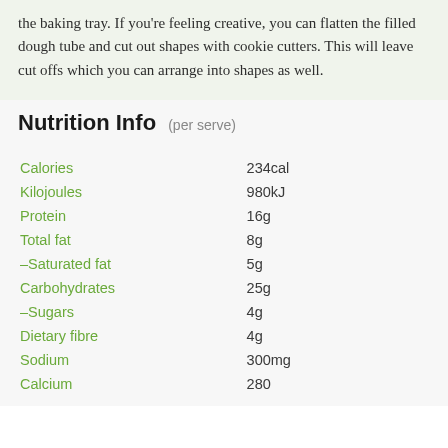the baking tray. If you're feeling creative, you can flatten the filled dough tube and cut out shapes with cookie cutters. This will leave cut offs which you can arrange into shapes as well.
Nutrition Info (per serve)
| Nutrient | Amount |
| --- | --- |
| Calories | 234cal |
| Kilojoules | 980kJ |
| Protein | 16g |
| Total fat | 8g |
| –Saturated fat | 5g |
| Carbohydrates | 25g |
| –Sugars | 4g |
| Dietary fibre | 4g |
| Sodium | 300mg |
| Calcium | 280 |